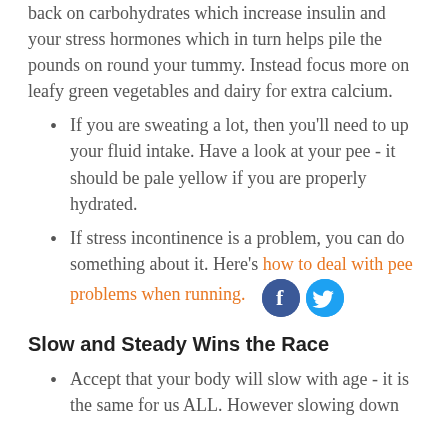Watch your diet from sugary things and cut back on carbohydrates which increase insulin and your stress hormones which in turn helps pile the pounds on round your tummy. Instead focus more on leafy green vegetables and dairy for extra calcium.
If you are sweating a lot, then you'll need to up your fluid intake. Have a look at your pee - it should be pale yellow if you are properly hydrated.
If stress incontinence is a problem, you can do something about it. Here's how to deal with pee problems when running.
Slow and Steady Wins the Race
Accept that your body will slow with age - it is the same for us ALL. However slowing down